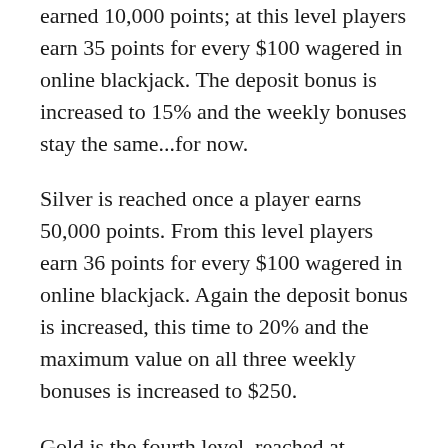earned 10,000 points; at this level players earn 35 points for every $100 wagered in online blackjack. The deposit bonus is increased to 15% and the weekly bonuses stay the same...for now.
Silver is reached once a player earns 50,000 points. From this level players earn 36 points for every $100 wagered in online blackjack. Again the deposit bonus is increased, this time to 20% and the maximum value on all three weekly bonuses is increased to $250.
Gold is the fourth level, reached at 100,000 points. Now every $100 wagered in blackjack is worth 39 points. Here players see the deposit bonus increased to 25% while the weekly bonuses stay the same as the Silver level ones.
Platinum is attained at 500,000 points. And the